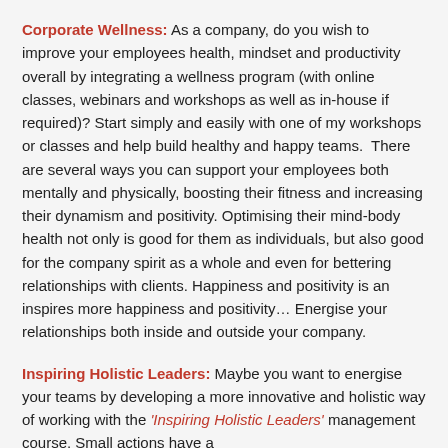Corporate Wellness: As a company, do you wish to improve your employees health, mindset and productivity overall by integrating a wellness program (with online classes, webinars and workshops as well as in-house if required)? Start simply and easily with one of my workshops or classes and help build healthy and happy teams.  There are several ways you can support your employees both mentally and physically, boosting their fitness and increasing their dynamism and positivity. Optimising their mind-body health not only is good for them as individuals, but also good for the company spirit as a whole and even for bettering relationships with clients. Happiness and positivity is an inspires more happiness and positivity… Energise your relationships both inside and outside your company.
Inspiring Holistic Leaders: Maybe you want to energise your teams by developing a more innovative and holistic way of working with the 'Inspiring Holistic Leaders' management course. Small actions have a